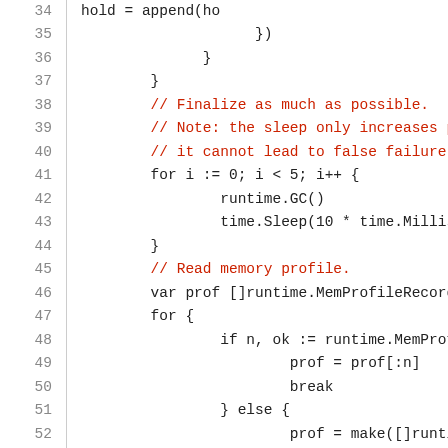[Figure (screenshot): Source code listing in Go language, lines 34-55, showing code with line numbers on the left and code content on the right. Comments are in dark red, code in dark gray/black monospace font.]